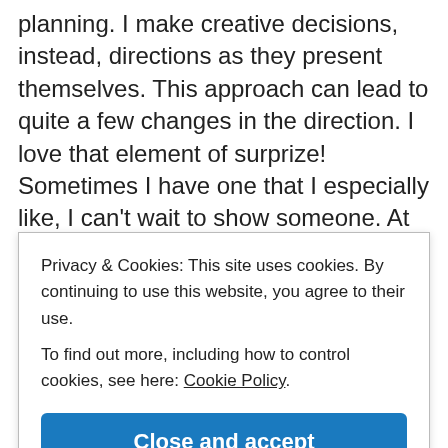planning. I make creative decisions, instead, directions as they present themselves. This approach can lead to quite a few changes in the direction. I love that element of surprize! Sometimes I have one that I especially like, I can't wait to show someone. At that moment I feel like a six year old, running home from school, a drawing in hand, excited to show Mom. At those
Privacy & Cookies: This site uses cookies. By continuing to use this website, you agree to their use.
To find out more, including how to control cookies, see here: Cookie Policy
Close and accept
Links